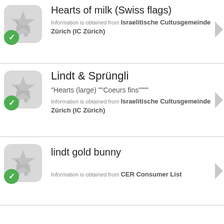[Figure (screenshot): Mobile app list showing kosher-certified Lindt chocolate products with green checkmark icons and certification source labels]
Hearts of milk (Swiss flags)
Information is obtained from Israelitische Cultusgemeinde Zürich (IC Zürich)
Lindt & Sprüngli
"Hearts (large) ""Coeurs fins""""
Information is obtained from Israelitische Cultusgemeinde Zürich (IC Zürich)
lindt gold bunny
Information is obtained from CER Consumer List